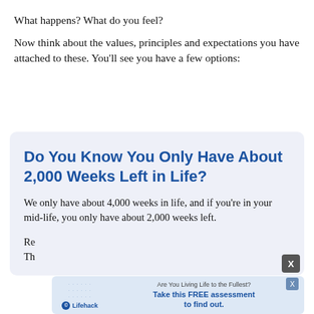What happens? What do you feel?
Now think about the values, principles and expectations you have attached to these. You'll see you have a few options:
[Figure (infographic): Light blue rounded box advertisement: headline 'Do You Know You Only Have About 2,000 Weeks Left in Life?' in bold dark blue, followed by body text 'We only have about 4,000 weeks in life, and if you're in your mid-life, you only have about 2,000 weeks left.' with a grey X close button, and a Lifehack inner ad bar at the bottom.]
Re
Th